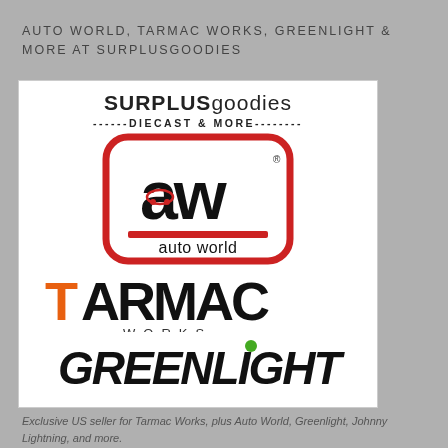AUTO WORLD, TARMAC WORKS, GREENLIGHT & MORE AT SURPLUSGOODIES
[Figure (logo): SURPLUSgoodies diecast store logo composite image featuring Auto World, Tarmac Works, and Greenlight brand logos on white background]
Exclusive US seller for Tarmac Works, plus Auto World, Greenlight, Johnny Lightning, and more.